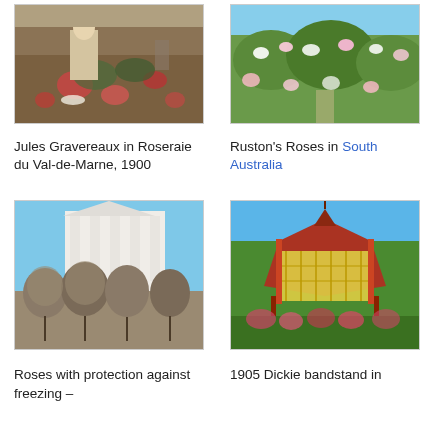[Figure (photo): Jules Gravereaux standing among roses in Roseraie du Val-de-Marne, 1900]
[Figure (photo): Ruston's Roses garden in South Australia with flowering rose bushes]
Jules Gravereaux in Roseraie du Val-de-Marne, 1900
Ruston's Roses in South Australia
[Figure (photo): Roses with protection against freezing — covered rose bushes in front of a white columned building]
[Figure (photo): 1905 Dickie bandstand in a rose garden]
Roses with protection against freezing –
1905 Dickie bandstand in